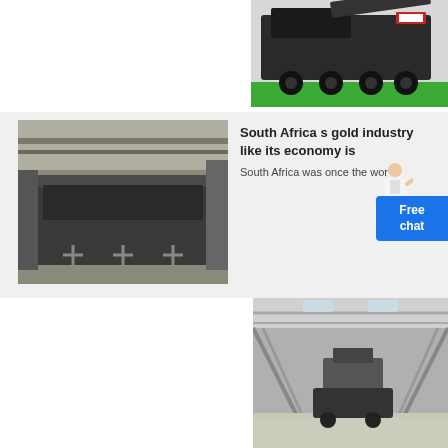[Figure (photo): Truck/vehicle on green surface, top-right area of page]
[Figure (photo): Industrial factory equipment - large rectangular metal machine in a workshop]
South Africa s gold industry like its economy is
South Africa was once the wor
Free chat
GOLDSHEET Mining Directory South Africa Resources
company in South Africa Eersteling
[Figure (photo): Large industrial factory interior with machinery and steel structure]